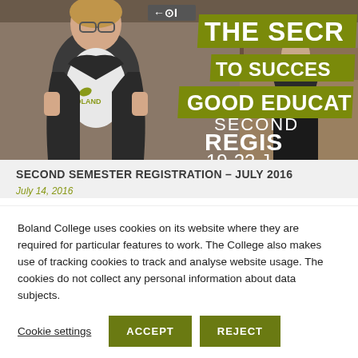[Figure (photo): Photo of a man in a suit revealing a Boland College t-shirt underneath, with text overlays reading 'THE SECR', 'TO SUCCES', 'GOOD EDUCAT', 'SECOND REGIS 19-22 J' on a green background, and a woman in the background]
SECOND SEMESTER REGISTRATION – JULY 2016
July 14, 2016
Boland College uses cookies on its website where they are required for particular features to work. The College also makes use of tracking cookies to track and analyse website usage. The cookies do not collect any personal information about data subjects.
Cookie settings  ACCEPT  REJECT